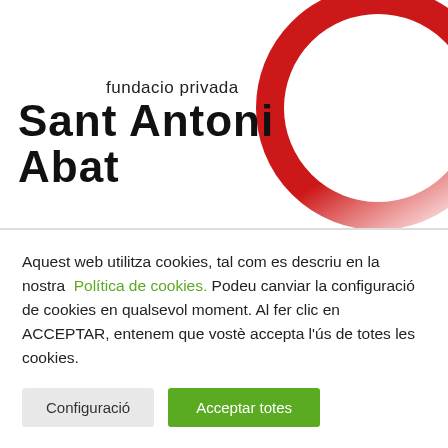[Figure (logo): Fundació Privada Sant Antoni Abat logo with red circular arc graphic and black text]
Aquest web utilitza cookies, tal com es descriu en la nostra Política de cookies. Podeu canviar la configuració de cookies en qualsevol moment. Al fer clic en ACCEPTAR, entenem que vostè accepta l'ús de totes les cookies.
Configuració
Acceptar totes